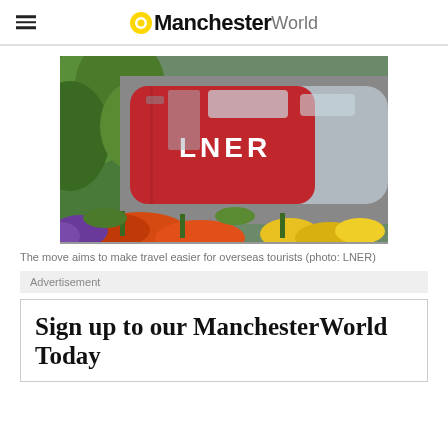ManchesterWorld
[Figure (photo): An LNER train at a station platform, with colorful flowers (purple, orange/red, yellow) in the foreground and green foliage on the left. The red and silver LNER train is visible with the LNER logo in white text on the side.]
The move aims to make travel easier for overseas tourists (photo: LNER)
Advertisement
Sign up to our ManchesterWorld Today